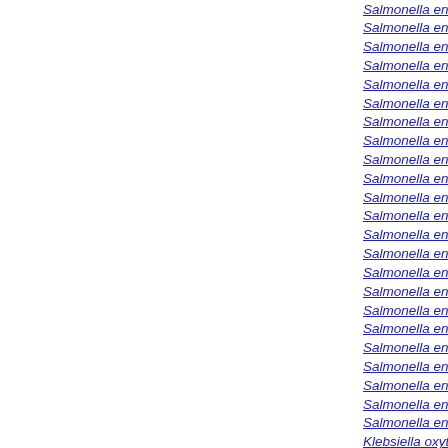Salmonella enterica subsp. enterica serovar Ty
Salmonella enterica subsp. enterica serovar Ty
Salmonella enterica subsp. enterica serovar Ty
Salmonella enterica subsp. enterica serovar Ty
Salmonella enterica subsp. enterica serovar Ty
Salmonella enterica subsp. enterica serovar Ty
Salmonella enterica serovar Bovismorbificans g
Salmonella enterica subsp. enterica serovar Ba
Salmonella enterica subsp. enterica serovar Ag
Salmonella enterica subsp. enterica serovar Ag
Salmonella enterica subsp. enterica serovar We
Salmonella enterica subsp. enterica serovar Pa
Salmonella enterica subsp. enterica serovar Pa
Salmonella enterica subsp. enterica serovar Pa
Salmonella enterica subsp. enterica Serovar He
Salmonella enterica subsp. enterica serovar He
Salmonella enterica subsp. enterica serovar He
Salmonella enterica subsp. enterica serovar He
Salmonella enterica subsp. enterica serovar Pu
Salmonella enterica subsp. enterica serovar Ga
Salmonella enterica subsp. enterica serovar Ga
Salmonella enterica subsp. enterica serovar Th
Salmonella enterica subsp. enterica serovar Ga
Klebsiella oxytoca KCTC 1686
Klebsiella pneumoniae JM45
Klebsiella pneumoniae CG43
Klebsiella pneumoniae KCTC 2242
Klebsiella pneumoniae 342
Klebsiella pneumoniae subsp. pneumoniae 1084
Klebsiella pneumoniae subsp. pneumoniae HS1